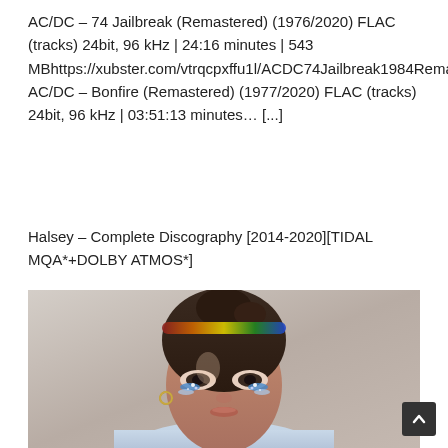AC/DC – 74 Jailbreak (Remastered) (1976/2020) FLAC (tracks) 24bit, 96 kHz | 24:16 minutes | 543 MBhttps://xubster.com/vtrqcpxffu1l/ACDC74Jailbreak1984Remastered20202496.rar.html AC/DC – Bonfire (Remastered) (1977/2020) FLAC (tracks) 24bit, 96 kHz | 03:51:13 minutes… [...]
Halsey – Complete Discography [2014-2020][TIDAL MQA*+DOLBY ATMOS*]
[Figure (photo): Portrait photo of Halsey with colorful hair highlights (rainbow colors at top), dramatic glittery eye makeup with blue and silver streaks, wearing a light blue top, against a light beige/grey background.]